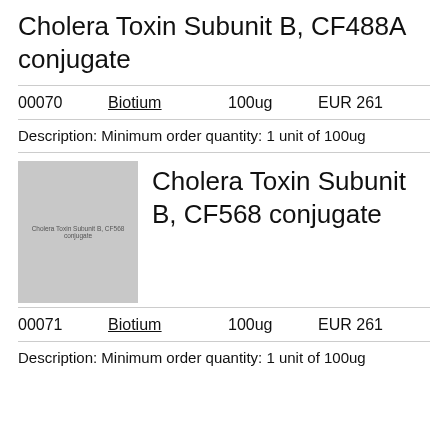Cholera Toxin Subunit B, CF488A conjugate
| Cat# | Brand | Qty | Price |
| --- | --- | --- | --- |
| 00070 | Biotium | 100ug | EUR 261 |
Description: Minimum order quantity: 1 unit of 100ug
[Figure (photo): Thumbnail image placeholder for Cholera Toxin Subunit B, CF568 conjugate product]
Cholera Toxin Subunit B, CF568 conjugate
| Cat# | Brand | Qty | Price |
| --- | --- | --- | --- |
| 00071 | Biotium | 100ug | EUR 261 |
Description: Minimum order quantity: 1 unit of 100ug